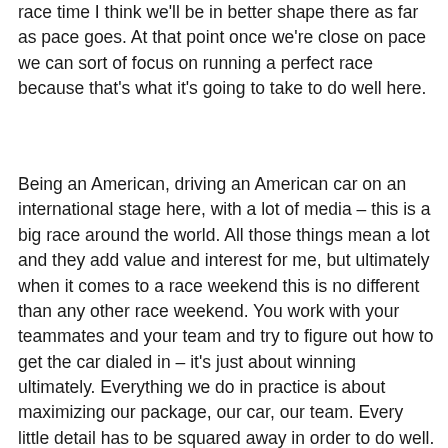race time I think we'll be in better shape there as far as pace goes. At that point once we're close on pace we can sort of focus on running a perfect race because that's what it's going to take to do well here.
Being an American, driving an American car on an international stage here, with a lot of media – this is a big race around the world. All those things mean a lot and they add value and interest for me, but ultimately when it comes to a race weekend this is no different than any other race weekend. You work with your teammates and your team and try to figure out how to get the car dialed in – it's just about winning ultimately. Everything we do in practice is about maximizing our package, our car, our team. Every little detail has to be squared away in order to do well. If you concern yourself with all the extra stuff then you can kind of get caught up a little bit in those things so I